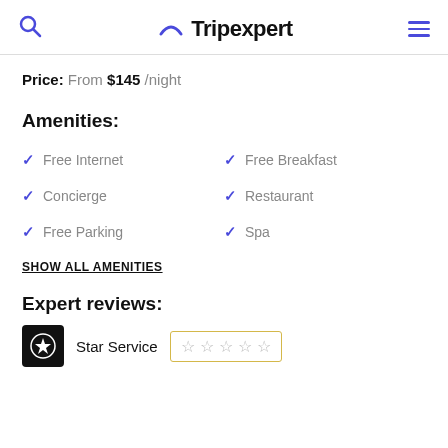Tripexpert
Price: From $145 /night
Amenities:
Free Internet
Free Breakfast
Concierge
Restaurant
Free Parking
Spa
SHOW ALL AMENITIES
Expert reviews:
Star Service